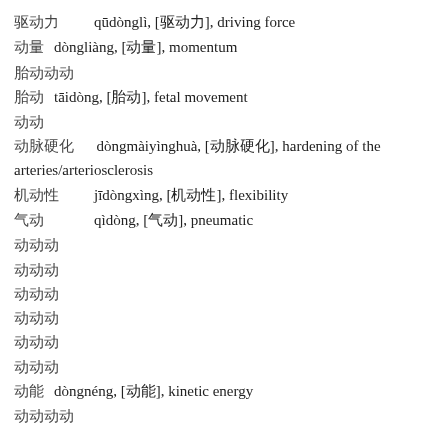驱动力　　qūdònglì, [驱动力], driving force
动量　　dòngliàng, [动量], momentum
胎动动
胎动　　tāidòng, [胎动], fetal movement
动动
动脉硬化　　dòngmàiyìnghuà, [动脉硬化], hardening of the arteries/arteriosclerosis
机动性　　jīdòngxìng, [机动性], flexibility
气动　　qìdòng, [气动], pneumatic
动动动
动动动
动动动
动动动
动动动
动动动
动能　　dòngnéng, [动能], kinetic energy
动动动动　　...